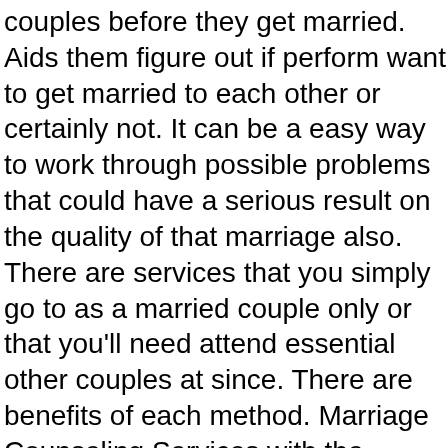couples before they get married. Aids them figure out if perform want to get married to each other or certainly not. It can be a easy way to work through possible problems that could have a serious result on the quality of that marriage also. There are services that you simply go to as a married couple only or that you'll need attend essential other couples at since. There are benefits of each method. Marriage Counseling Services with the perfect two of you allows for you to really accessible and to pay attention to your needs as a number of. When you have other couples around, you possibly be less likely to express your spouse. However, it can also assist with see that you're not the only couple which needs some help with your wedding day.
Those people carefully assess consumer financial